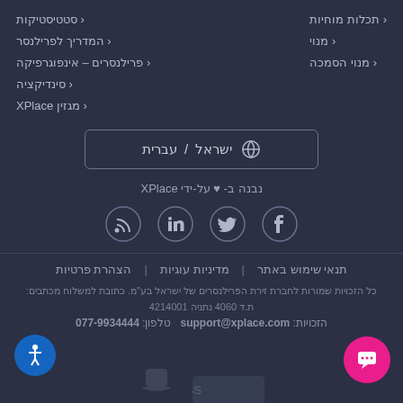סטטיסטיקות
תכלות מוחיות
המדריך לפרילנסר
מנוי
פרילנסרים – אינפוגרפיקה
מנוי הסמכה
סינדיקציה
מגזין XPlace
[Figure (other): Language/locale selector button showing globe icon, Israel / עברית]
נבנה ב- ♥ על-ידי XPlace
[Figure (other): Social media icons: RSS, LinkedIn, Twitter, Facebook]
תנאי שימוש באתר | מדיניות עוגיות | הצהרת פרטיות
כל הזכויות שמורות לחברת זירת הפרילנסרים של ישראל בע"מ. כתובת למשלוח מכתבים: ת.ד 4060 נתניה 4214001
הזכויות: support@xplace.com  טלפון: 077-9934444